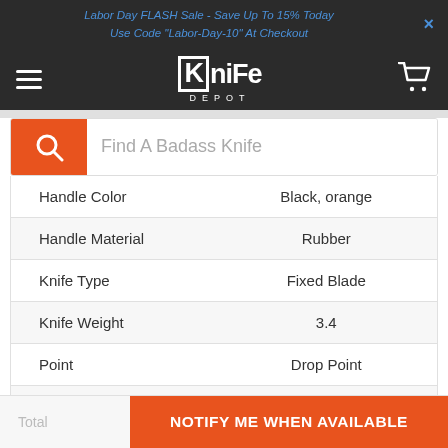Labor Day FLASH Sale - Save Up To 15% Today
Use Code "Labor-Day-10" At Checkout
[Figure (logo): Knife Depot logo with hamburger menu and cart icon on dark background]
[Figure (screenshot): Search bar with orange search icon and placeholder text 'Find A Badass Knife']
| Property | Value |
| --- | --- |
| Handle Color | Black, orange |
| Handle Material | Rubber |
| Knife Type | Fixed Blade |
| Knife Weight | 3.4 |
| Point | Drop Point |
| Sheath Included | Yes |
| Sheath Material | Polypropylene |
Total
NOTIFY ME WHEN AVAILABLE